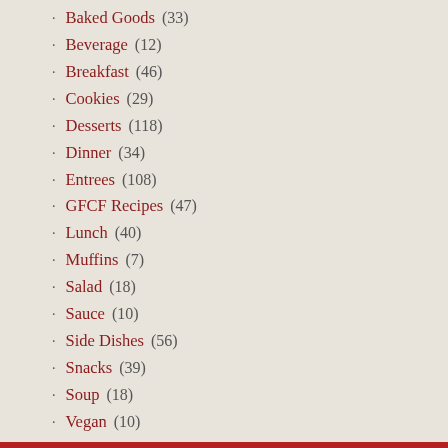Baked Goods (33)
Beverage (12)
Breakfast (46)
Cookies (29)
Desserts (118)
Dinner (34)
Entrees (108)
GFCF Recipes (47)
Lunch (40)
Muffins (7)
Salad (18)
Sauce (10)
Side Dishes (56)
Snacks (39)
Soup (18)
Vegan (10)
Religion (2)
Remedies (19)
Probiotics (3)
Resources (463)